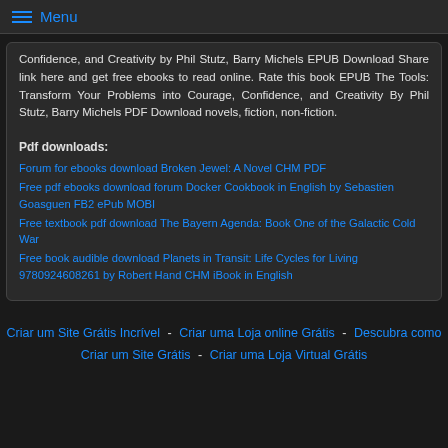Menu
Confidence, and Creativity by Phil Stutz, Barry Michels EPUB Download Share link here and get free ebooks to read online. Rate this book EPUB The Tools: Transform Your Problems into Courage, Confidence, and Creativity By Phil Stutz, Barry Michels PDF Download novels, fiction, non-fiction.
Pdf downloads:
Forum for ebooks download Broken Jewel: A Novel CHM PDF
Free pdf ebooks download forum Docker Cookbook in English by Sebastien Goasguen FB2 ePub MOBI
Free textbook pdf download The Bayern Agenda: Book One of the Galactic Cold War
Free book audible download Planets in Transit: Life Cycles for Living 9780924608261 by Robert Hand CHM iBook in English
Criar um Site Grátis Incrível - Criar uma Loja online Grátis - Descubra como Criar um Site Grátis - Criar uma Loja Virtual Grátis